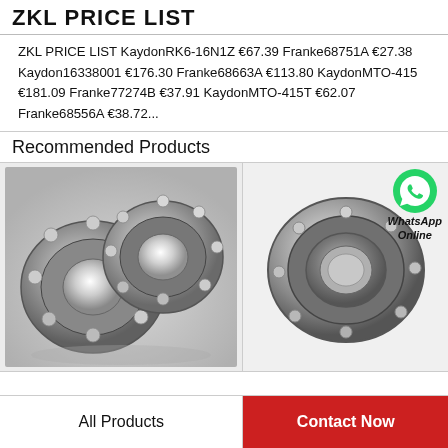ZKL PRICE LIST
ZKL PRICE LIST KaydonRK6-16N1Z €67.39 Franke68751A €27.38 Kaydon16338001 €176.30 Franke68663A €113.80 KaydonMTO-415 €181.09 Franke77274B €37.91 KaydonMTO-415T €62.07 Franke68556A €38.72...
Recommended Products
[Figure (photo): Two steel ball bearings, silver/chrome colored, shown from a slight angle on a light background with reflection]
[Figure (photo): Single large steel ball bearing ring/race, silver/chrome, shown from slight angle; WhatsApp Online badge with green phone icon in upper right corner]
All Products
Contact Now